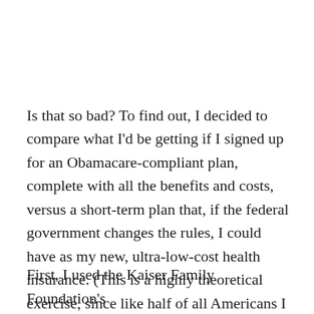Is that so bad? To find out, I decided to compare what I'd be getting if I signed up for an Obamacare-compliant plan, complete with all the benefits and costs, versus a short-term plan that, if the federal government changes the rules, I could have as my new, ultra-low-cost health insurance. (This is a highly theoretical exercise, since like half of all Americans I get health insurance through work. Thanks work!)
First, I used the Kaiser Family Foundation's